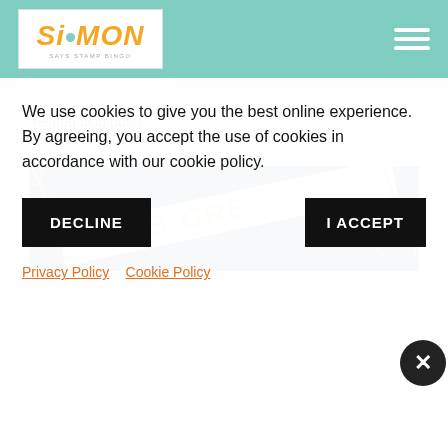Simon Says Stamp Blog
related blog posts
[Figure (photo): Close-up photo of a Christmas greeting embossed ribbon/band with text 'TMAS GRE...' (Christmas Greetings) on a dark blue background with gold foliage decoration]
We use cookies to give you the best online experience. By agreeing, you accept the use of cookies in accordance with our cookie policy.
DECLINE
I ACCEPT
Privacy Policy   Cookie Policy